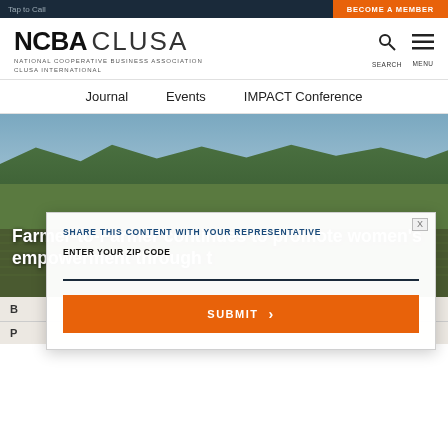Tap to Call | BECOME A MEMBER
[Figure (logo): NCBA CLUSA logo with text NATIONAL COOPERATIVE BUSINESS ASSOCIATION CLUSA INTERNATIONAL and search/menu icons]
Journal   Events   IMPACT Conference
[Figure (photo): Agricultural landscape with crops and trees under blue sky]
Farmer-to-Farmer continues to promote women’s empowerment through t…
B…
P…
SHARE THIS CONTENT WITH YOUR REPRESENTATIVE
ENTER YOUR ZIP CODE
SUBMIT